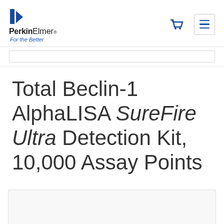PerkinElmer® For the Better
Total Beclin-1 AlphaLISA SureFire Ultra Detection Kit, 10,000 Assay Points
[Figure (screenshot): Partial product image area at bottom of page]